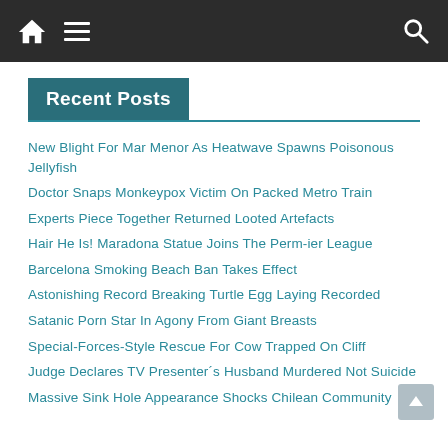Navigation bar with home icon, menu icon, and search icon
Recent Posts
New Blight For Mar Menor As Heatwave Spawns Poisonous Jellyfish
Doctor Snaps Monkeypox Victim On Packed Metro Train
Experts Piece Together Returned Looted Artefacts
Hair He Is! Maradona Statue Joins The Perm-ier League
Barcelona Smoking Beach Ban Takes Effect
Astonishing Record Breaking Turtle Egg Laying Recorded
Satanic Porn Star In Agony From Giant Breasts
Special-Forces-Style Rescue For Cow Trapped On Cliff
Judge Declares TV Presenter´s Husband Murdered Not Suicide
Massive Sink Hole Appearance Shocks Chilean Community